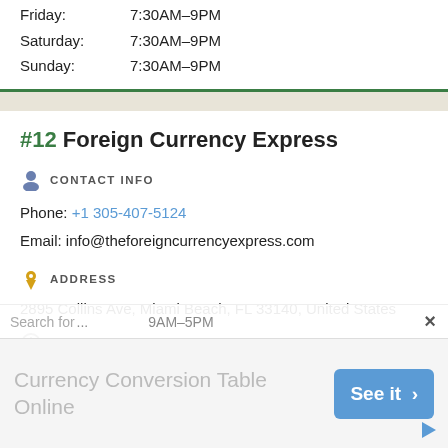Friday: 7:30AM–9PM
Saturday: 7:30AM–9PM
Sunday: 7:30AM–9PM
#12 Foreign Currency Express
CONTACT INFO
Phone: +1 305-407-5124
Email: info@theforeigncurrencyexpress.com
ADDRESS
2895 Collins Ave, Miami Beach, FL 33140, United States
OPEN HOURS
Monday: 9AM–5PM
Search for ...
Currency Conversion Table Online